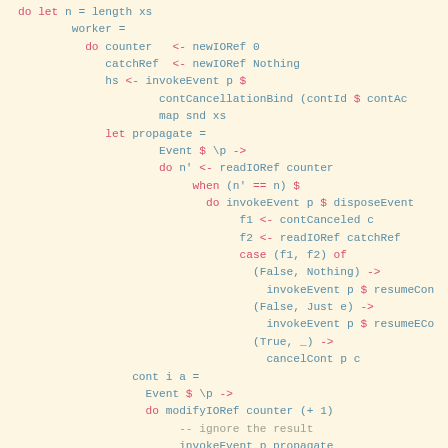[Figure (other): Haskell source code snippet showing worker function with event handling, propagate and cont/econt definitions]